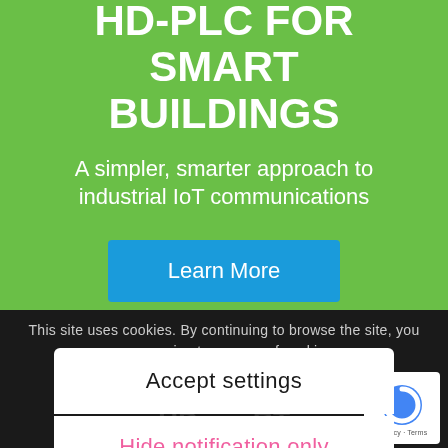HD-PLC FOR SMART BUILDINGS
A simpler, smarter approach to industrial IoT communications
Learn More
This site uses cookies. By continuing to browse the site, you are agreeing to our use of cookies.
Accept settings
Hide notification only